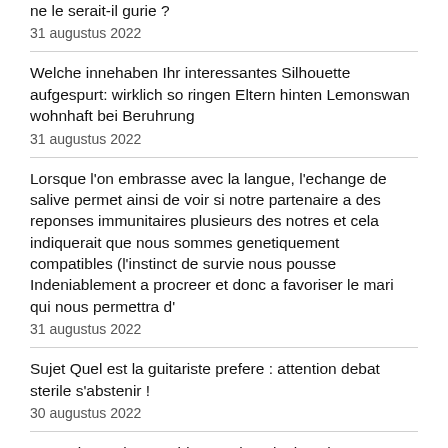ne le serait-il gurie ?
31 augustus 2022
Welche innehaben Ihr interessantes Silhouette aufgespurt: wirklich so ringen Eltern hinten Lemonswan wohnhaft bei Beruhrung
31 augustus 2022
Lorsque l'on embrasse avec la langue, l'echange de salive permet ainsi de voir si notre partenaire a des reponses immunitaires plusieurs des notres et cela indiquerait que nous sommes genetiquement compatibles (l'instinct de survie nous pousse Indeniablement a procreer et donc a favoriser le mari qui nous permettra d'
31 augustus 2022
Sujet Quel est la guitariste prefere : attention debat sterile s'abstenir !
30 augustus 2022
OFL private also provides – Take a look at them